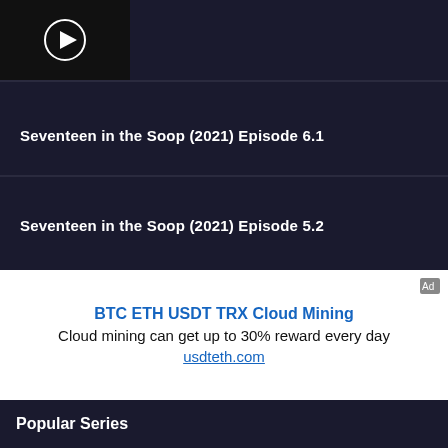[Figure (screenshot): Video thumbnail with play button icon on dark background]
Seventeen in the Soop (2021) Episode 6.1
Seventeen in the Soop (2021) Episode 5.2
[Figure (infographic): Advertisement for BTC ETH USDT TRX Cloud Mining with link usdteth.com]
Popular Series